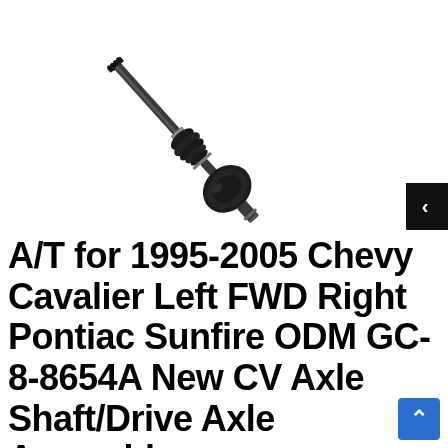[Figure (photo): CV axle shaft / drive axle assembly part photo showing a long shaft with splined end, rubber CV boot, and inner joint on white background]
A/T for 1995-2005 Chevy Cavalier Left FWD Right Pontiac Sunfire ODM GC-8-8654A New CV Axle Shaft/Drive Axle Assembly